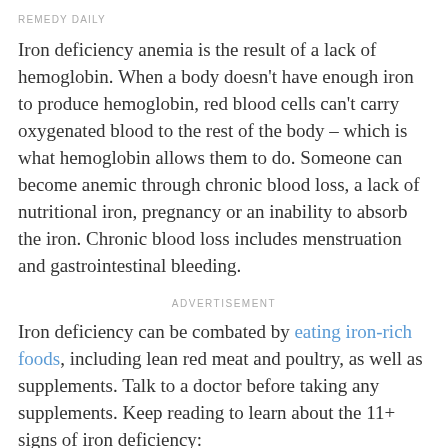REMEDY DAILY
Iron deficiency anemia is the result of a lack of hemoglobin. When a body doesn't have enough iron to produce hemoglobin, red blood cells can't carry oxygenated blood to the rest of the body – which is what hemoglobin allows them to do. Someone can become anemic through chronic blood loss, a lack of nutritional iron, pregnancy or an inability to absorb the iron. Chronic blood loss includes menstruation and gastrointestinal bleeding.
ADVERTISEMENT
Iron deficiency can be combated by eating iron-rich foods, including lean red meat and poultry, as well as supplements. Talk to a doctor before taking any supplements. Keep reading to learn about the 11+ signs of iron deficiency: